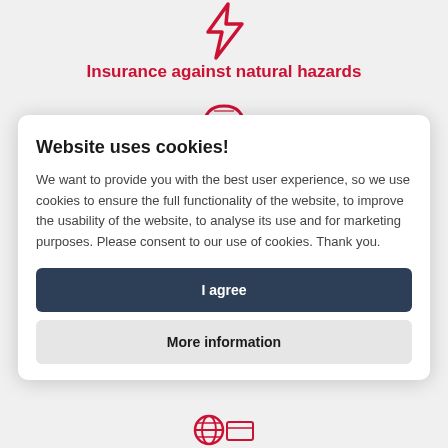[Figure (illustration): Red lightning bolt icon at top center]
Insurance against natural hazards
[Figure (illustration): Red dome/igloo icon]
Website uses cookies!
We want to provide you with the best user experience, so we use cookies to ensure the full functionality of the website, to improve the usability of the website, to analyse its use and for marketing purposes. Please consent to our use of cookies. Thank you.
I agree
More information
[Figure (illustration): Red decorative icon at bottom center]